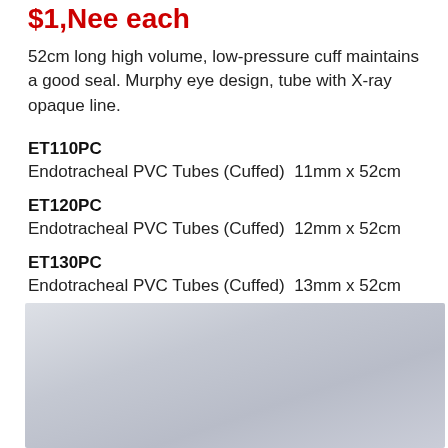$1,Nee each
52cm long high volume, low-pressure cuff maintains a good seal. Murphy eye design, tube with X-ray opaque line.
ET110PC
Endotracheal PVC Tubes (Cuffed)  11mm x 52cm
ET120PC
Endotracheal PVC Tubes (Cuffed)  12mm x 52cm
ET130PC
Endotracheal PVC Tubes (Cuffed)  13mm x 52cm
[Figure (photo): Partial view of a product image showing a light grey/silver gradient background, likely showing endotracheal tubes.]